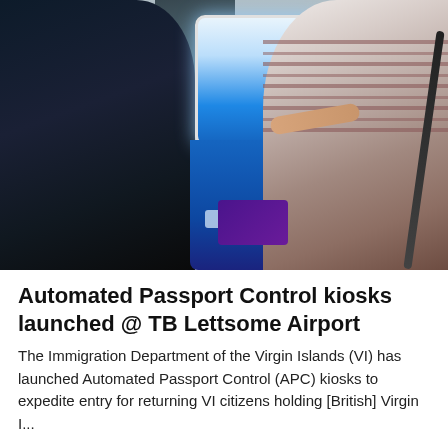[Figure (photo): A woman using an Automated Passport Control (APC) kiosk at TB Lettsome Airport. A man in a dark suit stands to the left observing. The kiosk is blue and white with a touchscreen. A BVI Airports Authority logo is visible in the background.]
Automated Passport Control kiosks launched @ TB Lettsome Airport
The Immigration Department of the Virgin Islands (VI) has launched Automated Passport Control (APC) kiosks to expedite entry for returning VI citizens holding [British] Virgin I...
[Figure (photo): Partial view of a second photo at the bottom of the page, partially cut off.]